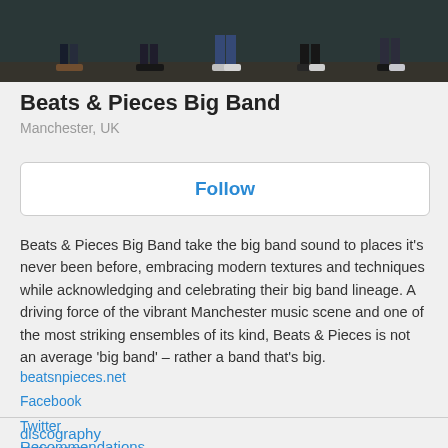[Figure (photo): Top portion of a band photo showing legs and feet of band members standing on a dark surface]
Beats & Pieces Big Band
Manchester, UK
Follow
Beats & Pieces Big Band take the big band sound to places it’s never been before, embracing modern textures and techniques while acknowledging and celebrating their big band lineage. A driving force of the vibrant Manchester music scene and one of the most striking ensembles of its kind, Beats & Pieces is not an average ‘big band’ – rather a band that’s big.
beatsnpieces.net
Facebook
Twitter
Instagram
Recommendations
discography